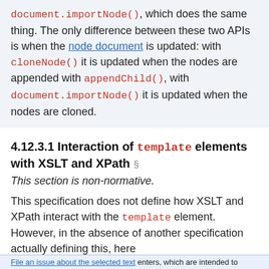document.importNode(), which does the same thing. The only difference between these two APIs is when the node document is updated: with cloneNode() it is updated when the nodes are appended with appendChild(), with document.importNode() it is updated when the nodes are cloned.
4.12.3.1 Interaction of template elements with XSLT and XPath §
This section is non-normative.
This specification does not define how XSLT and XPath interact with the template element. However, in the absence of another specification actually defining this, here [File an issue about the selected text] enters, which are intended to